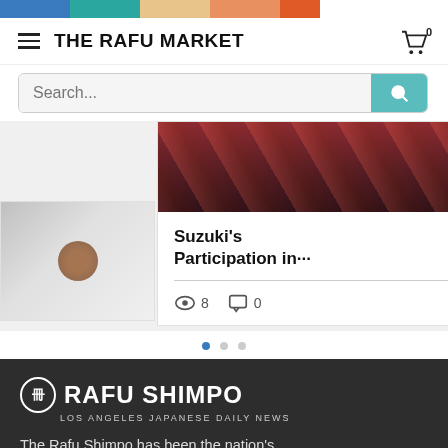[Figure (other): Horizontal color bar with segments: blue, teal, peach/tan, orange, dark orange]
THE RAFU MARKET
[Figure (other): Search bar with placeholder text 'Search...' and teal search button with magnifying glass icon]
Suzuki's Participation in···
[Figure (other): Article card with decorative image at top, title 'Suzuki's Participation in···', view count 8, comment count 0, and heart/like icon]
[Figure (other): Carousel dot indicators: one filled blue dot and two grey dots]
[Figure (logo): Rafu Shimpo logo - white text on dark grey background reading 'RAFU SHIMPO' with subtitle 'LOS ANGELES JAPANESE DAILY NEWS']
The Rafu Shimpo has been the nation's